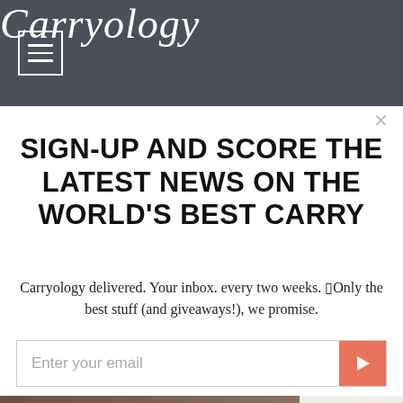Carryology
SIGN-UP AND SCORE THE LATEST NEWS ON THE WORLD'S BEST CARRY
Carryology delivered. Your inbox. every two weeks. ▯Only the best stuff (and giveaways!), we promise.
Enter your email
[Figure (screenshot): Huckberry advertisement banner with 'SHOP NOW' button]